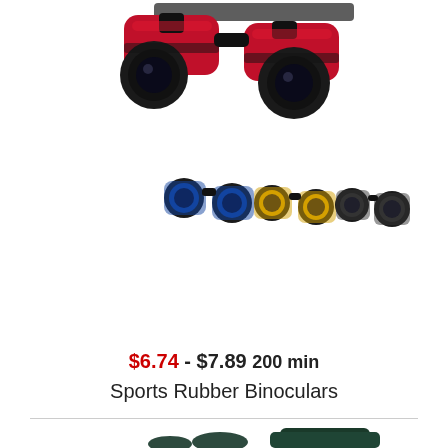[Figure (photo): Product photo showing multiple binoculars: large red and black binoculars above, and three smaller binoculars below in blue, yellow, and black colors]
$6.74 - $7.89 200 min
Sports Rubber Binoculars
[Figure (photo): Product photo showing teal/dark green binoculars with white accents and a dark green carrying case labeled MARQUETTE]